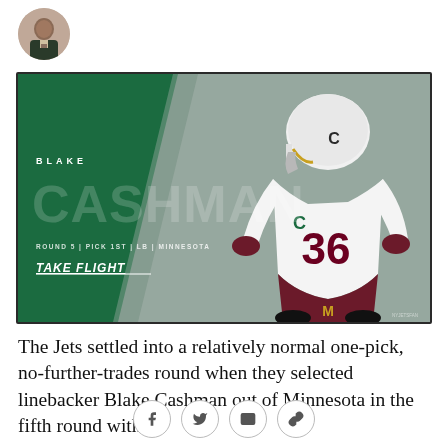[Figure (photo): Small circular avatar photo of a person in a suit and tie, positioned top-left]
[Figure (photo): New York Jets NFL Draft card for Blake Cashman. Dark green background with large faded CASHMAN text. Player in Minnesota Gophers white and maroon uniform #36 running. Text: BLAKE, CASHMAN, ROUND 5 | PICK 1ST | LB | MINNESOTA, TAKE FLIGHT]
The Jets settled into a relatively normal one-pick, no-further-trades round when they selected linebacker Blake Cashman out of Minnesota in the fifth round with